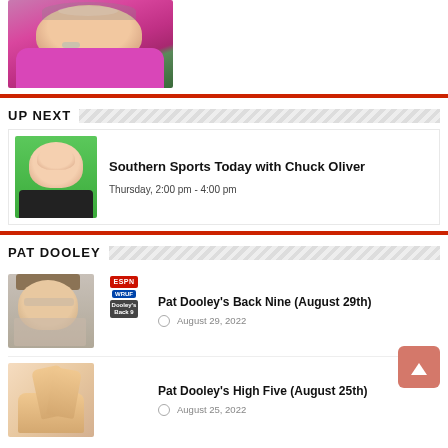[Figure (photo): Headshot of a smiling older man with grey beard wearing a pink/magenta polo shirt, against a green foliage background]
UP NEXT
[Figure (photo): Thumbnail photo of Chuck Oliver against a green background, wearing a dark shirt, smiling]
Southern Sports Today with Chuck Oliver
Thursday, 2:00 pm - 4:00 pm
PAT DOOLEY
[Figure (photo): Thumbnail of Pat Dooley wearing a hat, overlaid with ESPN WRUF Dooley's Back 9 logo]
Pat Dooley's Back Nine (August 29th)
August 29, 2022
Pat Dooley's High Five (August 25th)
August 25, 2022